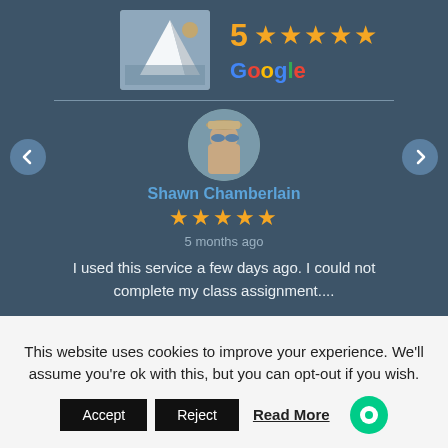[Figure (photo): Profile photo of a person on a sailboat, top-left]
5 ★★★★★
Google
[Figure (photo): Circular profile photo of Shawn Chamberlain wearing sunglasses and a hat]
Shawn Chamberlain
★★★★★
5 months ago
I used this service a few days ago. I could not complete my class assignment....
Read All 26 Reviews
This website uses cookies to improve your experience. We'll assume you're ok with this, but you can opt-out if you wish.
Accept
Reject
Read More